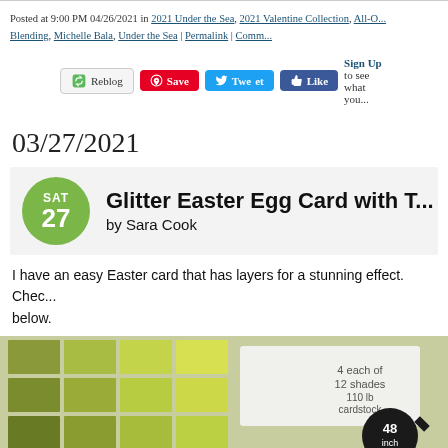Posted at 9:00 PM 04/26/2021 in 2021 Under the Sea, 2021 Valentine Collection, All-O... Blending, Michelle Bala, Under the Sea | Permalink | Comm...
[Figure (screenshot): Social sharing buttons: Reblog, Save (Pinterest), Tweet (Twitter), Like (Facebook), Sign Up prompt]
03/27/2021
Glitter Easter Egg Card with T... by Sara Cook
I have an easy Easter card that has layers for a stunning effect. Chec... below.
[Figure (photo): Green cardstock paint chip swatches arranged in a grid, with text '4 each of 12 shades 110 lb cardstock' and a circular badge showing '48 inch']